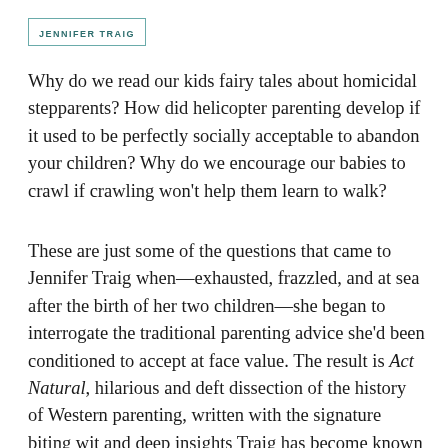JENNIFER TRAIG
Why do we read our kids fairy tales about homicidal stepparents? How did helicopter parenting develop if it used to be perfectly socially acceptable to abandon your children? Why do we encourage our babies to crawl if crawling won’t help them learn to walk?
These are just some of the questions that came to Jennifer Traig when—exhausted, frazzled, and at sea after the birth of her two children—she began to interrogate the traditional parenting advice she’d been conditioned to accept at face value. The result is Act Natural, hilarious and deft dissection of the history of Western parenting, written with the signature biting wit and deep insights Traig has become known for.